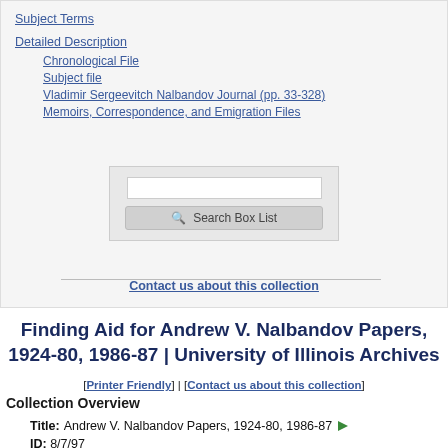Subject Terms
Detailed Description
Chronological File
Subject file
Vladimir Sergeevitch Nalbandov Journal (pp. 33-328)
Memoirs, Correspondence, and Emigration Files
Contact us about this collection
Finding Aid for Andrew V. Nalbandov Papers, 1924-80, 1986-87 | University of Illinois Archives
[Printer Friendly] | [Contact us about this collection]
Collection Overview
Title: Andrew V. Nalbandov Papers, 1924-80, 1986-87
ID: 8/7/97